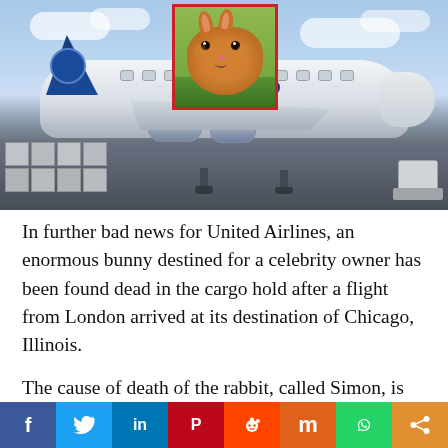[Figure (photo): United Airlines Boeing 747 parked at airport tarmac with cargo containers in foreground, blue sky with clouds above. Inset photo in upper center shows a brown/golden rabbit (Simon) with a red border.]
In further bad news for United Airlines, an enormous bunny destined for a celebrity owner has been found dead in the cargo hold after a flight from London arrived at its destination of Chicago, Illinois.
The cause of death of the rabbit, called Simon, is unknown. But perhaps most damaging for United is an email CEO Oscar Munoz sent to United Staff
[Figure (infographic): Social media share bar with icons for Facebook (blue), Twitter (light blue), LinkedIn (dark blue), Pinterest (red), Reddit (orange-red), Mix/StumbleUpon (orange), WhatsApp (green), Share (amber/orange)]